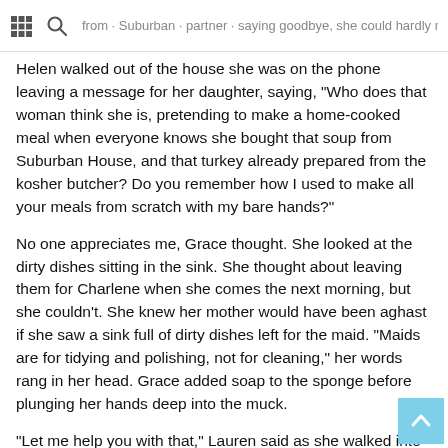Helen walked out of the house she was on the phone leaving a message for her daughter...
Helen walked out of the house she was on the phone leaving a message for her daughter, saying, "Who does that woman think she is, pretending to make a home-cooked meal when everyone knows she bought that soup from Suburban House, and that turkey already prepared from the kosher butcher? Do you remember how I used to make all your meals from scratch with my bare hands?"
No one appreciates me, Grace thought. She looked at the dirty dishes sitting in the sink. She thought about leaving them for Charlene when she comes the next morning, but she couldn't. She knew her mother would have been aghast if she saw a sink full of dirty dishes left for the maid. "Maids are for tidying and polishing, not for cleaning," her words rang in her head. Grace added soap to the sponge before plunging her hands deep into the muck.
"Let me help you with that," Lauren said as she walked into the kitchen and gave her mom's shoulder an affectionate squeeze. "I told you the dinner would be fine."
Grace brushed off from and an as from of her with a